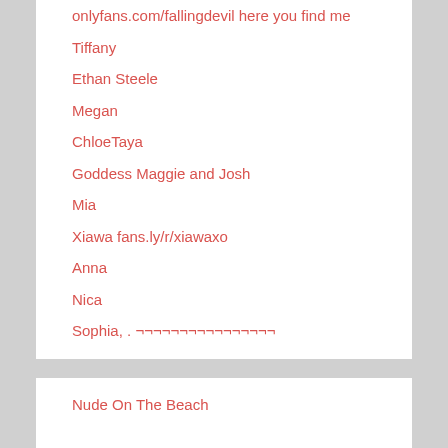onlyfans.com/fallingdevil here you find me
Tiffany
Ethan Steele
Megan
ChloeTaya
Goddess Maggie and Josh
Mia
Xiawa fans.ly/r/xiawaxo
Anna
Nica
Sophia, . ¬¬¬¬¬¬¬¬¬¬¬¬¬¬¬¬
Nude On The Beach